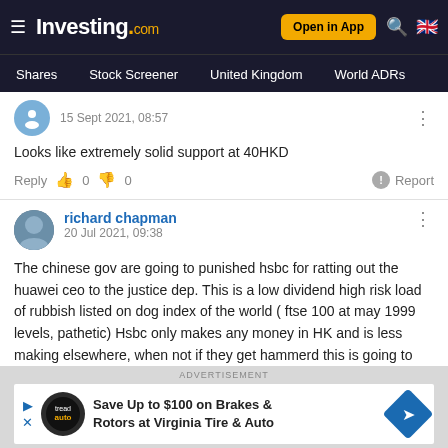Investing.com — Shares | Stock Screener | United Kingdom | World ADRs
15 Sept 2021, 08:57
Looks like extremely solid support at 40HKD
Reply  0  0  Report
richard chapman
20 Jul 2021, 09:38
The chinese gov are going to punished hsbc for ratting out the huawei ceo to the justice dep. This is a low dividend high risk load of rubbish listed on dog index of the world ( ftse 100 at may 1999 levels, pathetic) Hsbc only makes any money in HK and is less making elsewhere, when not if they get hammerd this is going to the 200's. Watch this space over next few months. Terminal.
ADVERTISEMENT
Save Up to $100 on Brakes & Rotors at Virginia Tire & Auto